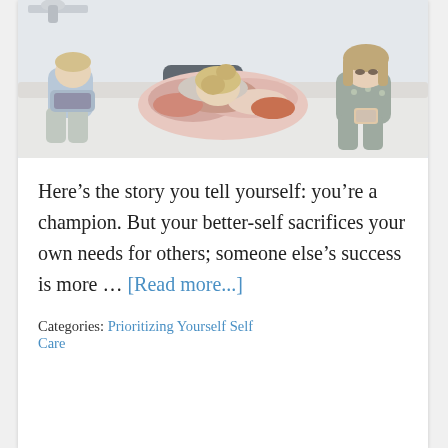[Figure (photo): A stressed mother sitting on a couch with her head bowed into a large pile of laundry, with two young children on either side of her. The child on the left has their head down, and the child on the right is looking down at something in her hands.]
Here’s the story you tell yourself: you’re a champion. But your better-self sacrifices your own needs for others; someone else’s success is more ... [Read more...]
Categories: Prioritizing Yourself Self Care